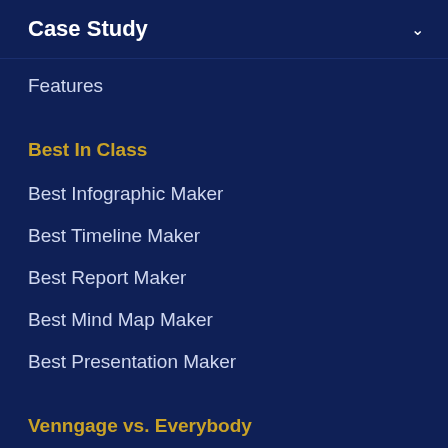Case Study
Features
Best In Class
Best Infographic Maker
Best Timeline Maker
Best Report Maker
Best Mind Map Maker
Best Presentation Maker
Venngage vs. Everybody
Venngage vs. Powerpoint
Venngage vs. Canva
Venngage vs. Visme